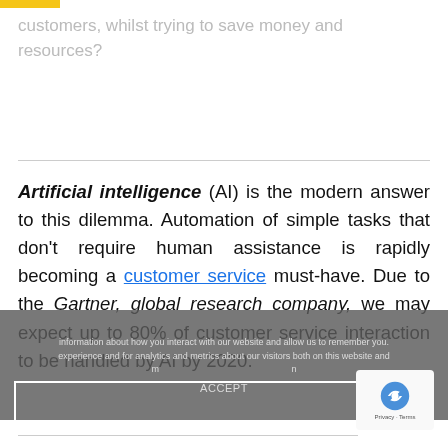customers, whilst trying to save money and resources?
Artificial intelligence (AI) is the modern answer to this dilemma. Automation of simple tasks that don't require human assistance is rapidly becoming a customer service must-have. Due to the Gartner, global research company, we may expect up to 80% of customer service interaction to be handled by AI by 2020.